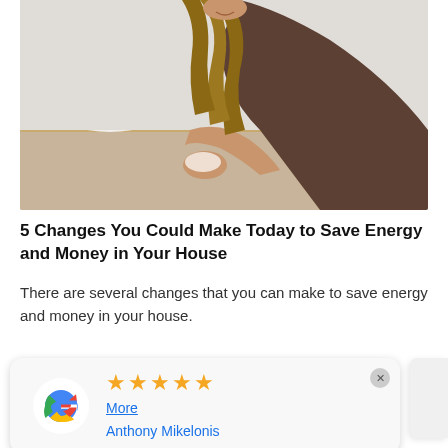[Figure (photo): Woman in brown towel leaning over bathroom sink holding foam/water in cupped hands, wet hair, modern bathroom background]
5 Changes You Could Make Today to Save Energy and Money in Your House
There are several changes that you can make to save energy and money in your house.
[Figure (other): Google review card with Google G logo, 5 yellow stars, a 'More' link, reviewer name 'Anthony Mikelonis', and a close (x) button]